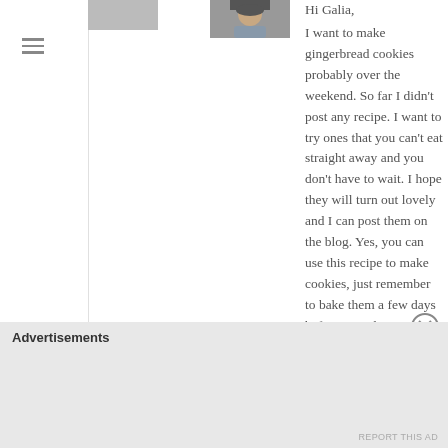[Figure (photo): Small avatar/photo placeholder of a person with short dark hair]
Hi Galia,
I want to make gingerbread cookies probably over the weekend. So far I didn't post any recipe. I want to try ones that you can't eat straight away and you don't have to wait. I hope they will turn out lovely and I can post them on the blog. Yes, you can use this recipe to make cookies, just remember to bake them a few days before you plan to eat them as they maybe very hard at first.
Yes, I do have a photo of the cake, I will add it to the post in few minutes.
Enjoy!
Advertisements